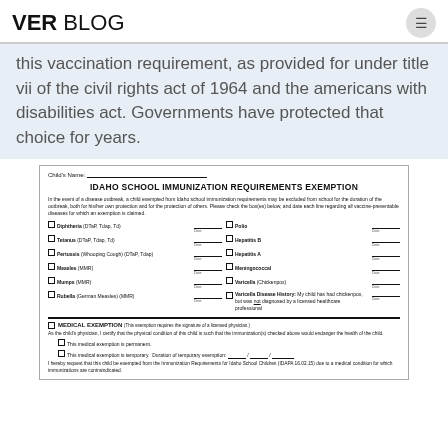VER BLOG
this vaccination requirement, as provided for under title vii of the civil rights act of 1964 and the americans with disabilities act. Governments have protected that choice for years.
[Figure (infographic): Idaho School Immunization Requirements Exemption form showing checkboxes for various vaccines (Diphtheria, Tetanus, Pertussis, Measles, Mumps, Rubella, Polio, Hepatitis B, Hepatitis A, Meningococcal, Varicella) with date fields, and a Medical Exemption section requiring physician signature.]